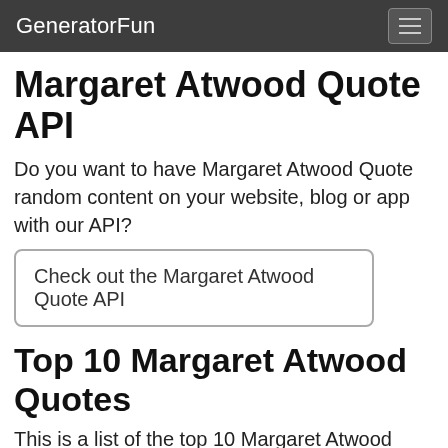GeneratorFun
Margaret Atwood Quote API
Do you want to have Margaret Atwood Quote random content on your website, blog or app with our API?
Check out the Margaret Atwood Quote API
Top 10 Margaret Atwood Quotes
This is a list of the top 10 Margaret Atwood Quotes for 2022.
1.  "'Jimmy, look at it realistically. You can't couple a minimum access to food with an expanding population indefinitely. Homo sapiens doesn't seem to be able to cut himself off at the supply end. He's one of the few species that doesn't limit